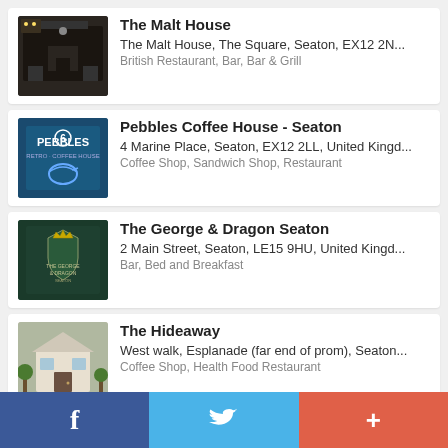The Malt House
The Malt House, The Square, Seaton, EX12 2N...
British Restaurant, Bar, Bar & Grill
Pebbles Coffee House - Seaton
4 Marine Place, Seaton, EX12 2LL, United Kingd...
Coffee Shop, Sandwich Shop, Restaurant
The George & Dragon Seaton
2 Main Street, Seaton, LE15 9HU, United Kingd...
Bar, Bed and Breakfast
The Hideaway
West walk, Esplanade (far end of prom), Seaton...
Coffee Shop, Health Food Restaurant
tandoori tonight
f  [Twitter bird]  +